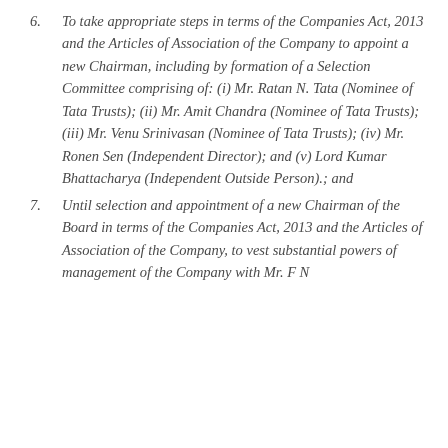6. To take appropriate steps in terms of the Companies Act, 2013 and the Articles of Association of the Company to appoint a new Chairman, including by formation of a Selection Committee comprising of: (i) Mr. Ratan N. Tata (Nominee of Tata Trusts); (ii) Mr. Amit Chandra (Nominee of Tata Trusts); (iii) Mr. Venu Srinivasan (Nominee of Tata Trusts); (iv) Mr. Ronen Sen (Independent Director); and (v) Lord Kumar Bhattacharya (Independent Outside Person).; and
7. Until selection and appointment of a new Chairman of the Board in terms of the Companies Act, 2013 and the Articles of Association of the Company, to vest substantial powers of management of the Company with Mr. F N...